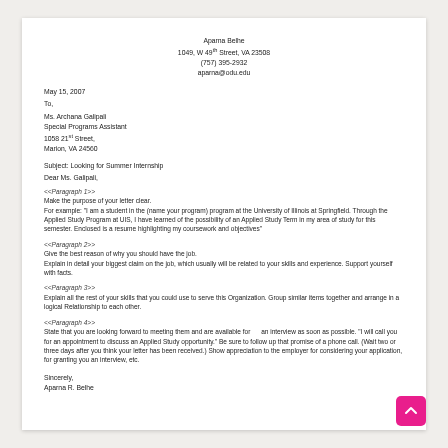Aparna Belhe
1049, W 49th Street, VA 23508
(757) 395-2932
aparna@odu.edu
May 15, 2007
To,
Ms. Archana Galipali
Special Programs Assistant
1058 21st Street,
Marion, VA 24560
Subject: Looking for Summer Internship
Dear Ms. Galipali,
<<Paragraph 1>>
Make the purpose of your letter clear.
For example: "I am a student in the (name your program) program at the University of Illinois at Springfield. Through the Applied Study Program at UIS, I have learned of the possibility of an Applied Study Term in my area of study for this semester. Enclosed is a resume highlighting my coursework and objectives"
<<Paragraph 2>>
Give the best reason of why you should have the job.
Explain in detail your biggest claim on the job, which usually will be related to your skills and experience. Support yourself with facts.
<<Paragraph 3>>
Explain all the rest of your skills that you could use to serve this Organization. Group similar items together and arrange in a logical Relationship to each other.
<<Paragraph 4>>
State that you are looking forward to meeting them and are available for      an interview as soon as possible. "I will call you for an appointment to discuss an Applied Study opportunity." Be sure to follow up that promise of a phone call. (Wait two or three days after you think your letter has been received.) Show appreciation to the employer for considering your application, for granting you an interview, etc.
Sincerely,
Aparna R. Belhe